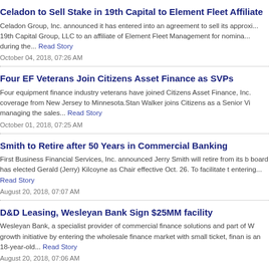Celadon to Sell Stake in 19th Capital to Element Fleet Affiliate
Celadon Group, Inc. announced it has entered into an agreement to sell its approxi... 19th Capital Group, LLC to an affiliate of Element Fleet Management for nomina... during the... Read Story
October 04, 2018, 07:26 AM
Four EF Veterans Join Citizens Asset Finance as SVPs
Four equipment finance industry veterans have joined Citizens Asset Finance, Inc. coverage from New Jersey to Minnesota.Stan Walker joins Citizens as a Senior Vi managing the sales... Read Story
October 01, 2018, 07:25 AM
Smith to Retire after 50 Years in Commercial Banking
First Business Financial Services, Inc. announced Jerry Smith will retire from its b board has elected Gerald (Jerry) Kilcoyne as Chair effective Oct. 26. To facilitate t entering... Read Story
August 20, 2018, 07:07 AM
D&D Leasing, Wesleyan Bank Sign $25MM facility
Wesleyan Bank, a specialist provider of commercial finance solutions and part of W growth initiative by entering the wholesale finance market with small ticket, finan is an 18-year-old... Read Story
August 20, 2018, 07:06 AM